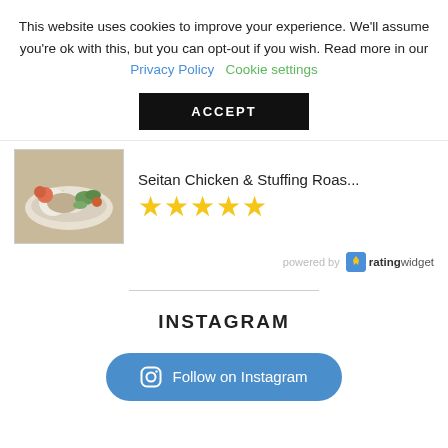This website uses cookies to improve your experience. We'll assume you're ok with this, but you can opt-out if you wish. Read more in our Privacy Policy   Cookie settings
ACCEPT
[Figure (photo): Thumbnail photo of Seitan Chicken & Stuffing Roast dish on a white plate with vegetables]
Seitan Chicken & Stuffing Roas...
★★★★★
powered by ratingwidget
INSTAGRAM
Follow on Instagram